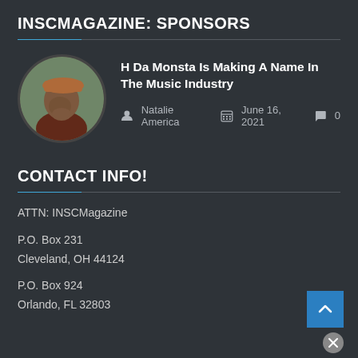INSCMAGAZINE: SPONSORS
[Figure (photo): Circular avatar photo of a person wearing a hat, shown from side/profile against a blurred outdoor background]
H Da Monsta Is Making A Name In The Music Industry
Natalie America   June 16, 2021   0
CONTACT INFO!
ATTN: INSCMagazine
P.O. Box 231
Cleveland, OH 44124
P.O. Box 924
Orlando, FL 32803